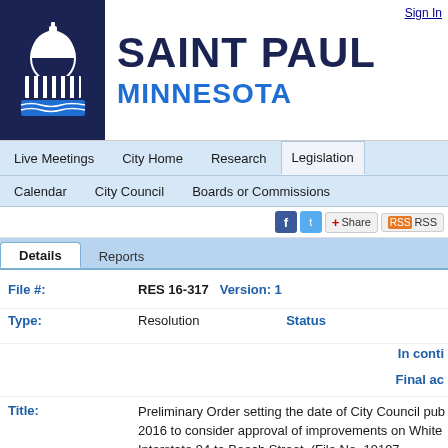Sign In
[Figure (logo): Saint Paul Minnesota city logo with capitol dome icon on dark navy background]
SAINT PAUL MINNESOTA
Live Meetings  City Home  Research  Legislation
Calendar  City Council  Boards or Commissions
Share RSS
Details  Reports
File #: RES 16-317  Version: 1
Type: Resolution  Status:
In conti
Final ac
Title: Preliminary Order setting the date of City Council pub 2016 to consider approval of improvements on White Interstate 94 to Beech Street. (File No. 19197, Assessm
Sponsors: Jane L. Prince